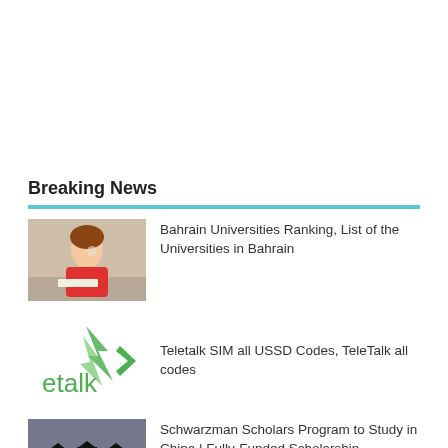Breaking News
Bahrain Universities Ranking, List of the Universities in Bahrain
Teletalk SIM all USSD Codes, TeleTalk all codes
Schwarzman Scholars Program to Study in China | Fully-Funded Scholarship